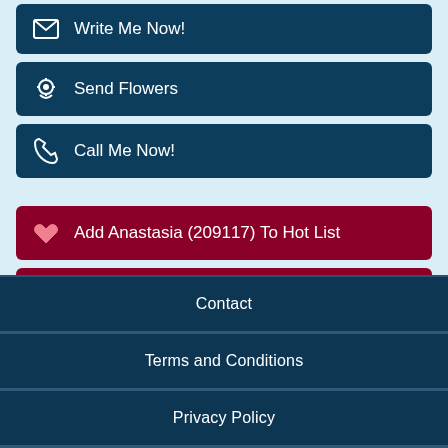Write Me Now!
Send Flowers
Call Me Now!
Add Anastasia (209117) To Hot List
View Hot List
Contact | Terms and Conditions | Privacy Policy